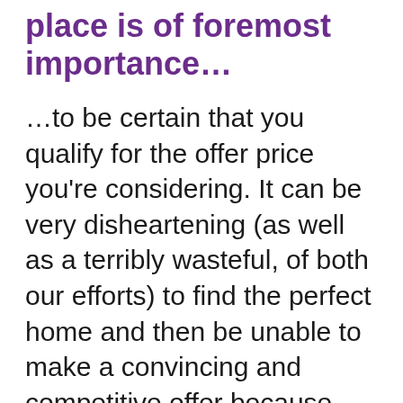place is of foremost importance...
…to be certain that you qualify for the offer price you're considering. It can be very disheartening (as well as a terribly wasteful, of both our efforts) to find the perfect home and then be unable to make a convincing and competitive offer because you don't have the documentation in hand to verify that you are approved for the